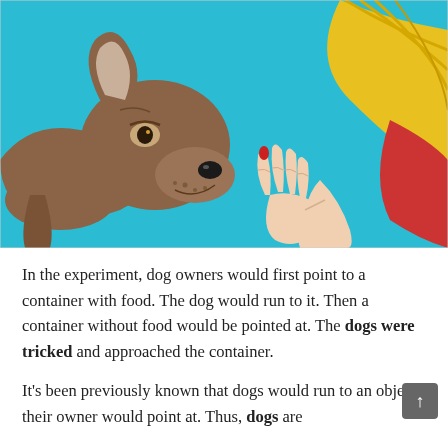[Figure (illustration): Comic-style illustration of a brown dog sniffing a woman's hand. The woman has long blonde hair, wearing a red and yellow outfit. The background is bright turquoise/cyan blue. The dog's head is bowed down toward the woman's outstretched hand with red-painted fingernails.]
In the experiment, dog owners would first point to a container with food. The dog would run to it. Then a container without food would be pointed at. The dogs were tricked and approached the container.
It's been previously known that dogs would run to an object their owner would point at. Thus, dogs are